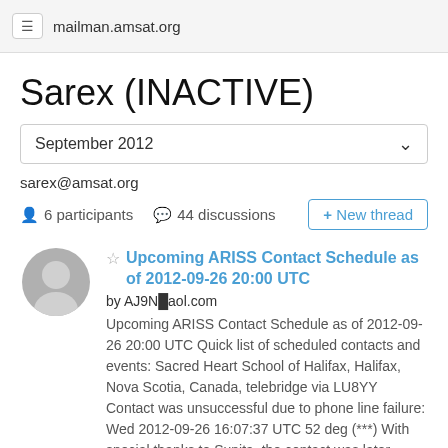mailman.amsat.org
Sarex (INACTIVE)
September 2012
sarex@amsat.org
6 participants   44 discussions
+ New thread
Upcoming ARISS Contact Schedule as of 2012-09-26 20:00 UTC
by AJ9N@aol.com
Upcoming ARISS Contact Schedule as of 2012-09-26 20:00 UTC Quick list of scheduled contacts and events: Sacred Heart School of Halifax, Halifax, Nova Scotia, Canada, telebridge via LU8YY Contact was unsuccessful due to phone line failure: Wed 2012-09-26 16:07:37 UTC 52 deg (***) With special thanks to Sunita, the contact was later